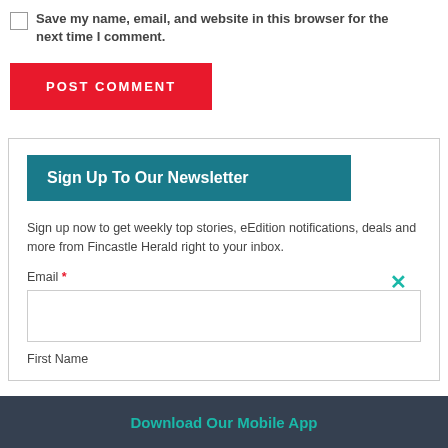Save my name, email, and website in this browser for the next time I comment.
POST COMMENT
Sign Up To Our Newsletter
Sign up now to get weekly top stories, eEdition notifications, deals and more from Fincastle Herald right to your inbox.
Email *
First Name
Download Our Mobile App